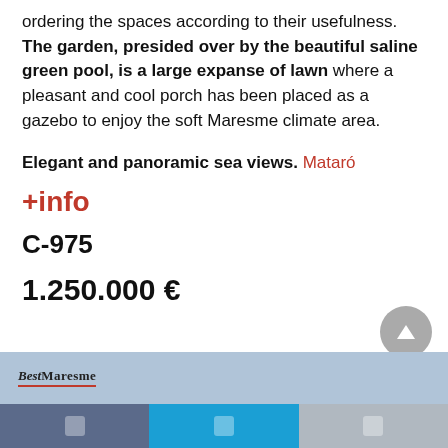ordering the spaces according to their usefulness. The garden, presided over by the beautiful saline green pool, is a large expanse of lawn where a pleasant and cool porch has been placed as a gazebo to enjoy the soft Maresme climate area.
Elegant and panoramic sea views. Mataró
+info
C-975
1.250.000 €
BestMaresme